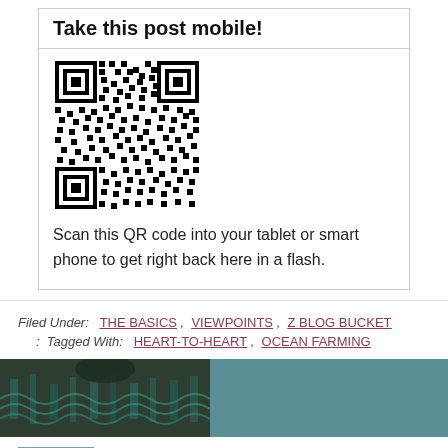Take this post mobile!
[Figure (other): QR code image for mobile access]
Scan this QR code into your tablet or smart phone to get right back here in a flash.
Filed Under: THE BASICS , VIEWPOINTS , Z BLOG BUCKET : Tagged With: HEART-TO-HEART , OCEAN FARMING
[Figure (photo): Photo strip showing a person wearing a patterned sweater, with teal background on the right]
About (Kaz) Karen Lefaye